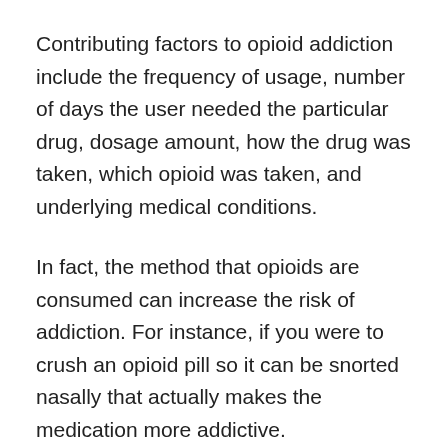Contributing factors to opioid addiction include the frequency of usage, number of days the user needed the particular drug, dosage amount, how the drug was taken, which opioid was taken, and underlying medical conditions.
In fact, the method that opioids are consumed can increase the risk of addiction. For instance, if you were to crush an opioid pill so it can be snorted nasally that actually makes the medication more addictive.
Long-Term Effects of Opioid Addiction
Let's look at long-term effects when taking opioids repeatedly. What happens is your body slows its